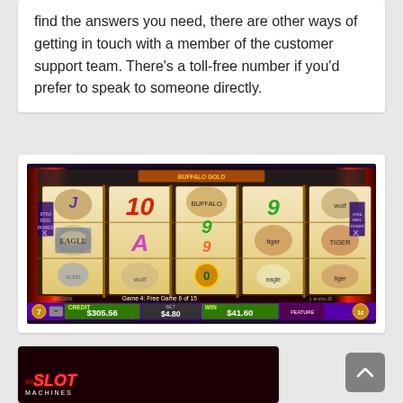find the answers you need, there are other ways of getting in touch with a member of the customer support team. There's a toll-free number if you'd prefer to speak to someone directly.
[Figure (photo): Screenshot of a slot machine game showing 5 reels with animal symbols (wolves, eagles, tigers), card symbols (J, 10, 9, A), and a bottom bar showing CREDIT $305.56, BET $4.80, WIN $41.60. Text reads 'Game 4: Free Game 6 of 15'.]
[Figure (logo): Partial view of 99 Slot Machines logo on dark red background]